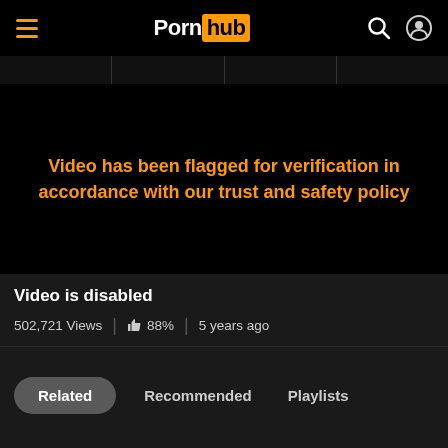Pornhub
[Figure (screenshot): Video player area showing flagged content message]
Video has been flagged for verification in accordance with our trust and safety policy
Video is disabled
502,721 Views | 88% | 5 years ago
Related  Recommended  Playlists